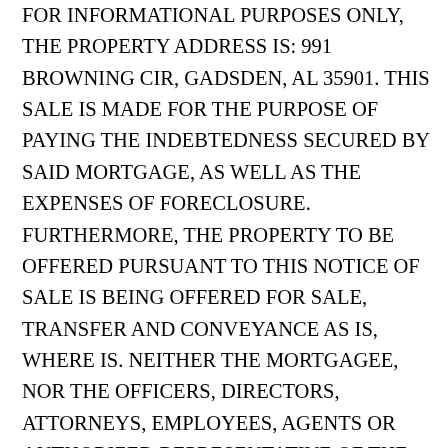FOR INFORMATIONAL PURPOSES ONLY, THE PROPERTY ADDRESS IS: 991 BROWNING CIR, GADSDEN, AL 35901. THIS SALE IS MADE FOR THE PURPOSE OF PAYING THE INDEBTEDNESS SECURED BY SAID MORTGAGE, AS WELL AS THE EXPENSES OF FORECLOSURE. FURTHERMORE, THE PROPERTY TO BE OFFERED PURSUANT TO THIS NOTICE OF SALE IS BEING OFFERED FOR SALE, TRANSFER AND CONVEYANCE AS IS, WHERE IS. NEITHER THE MORTGAGEE, NOR THE OFFICERS, DIRECTORS, ATTORNEYS, EMPLOYEES, AGENTS OR AUTHORIZED REPRESENTATIVE OF THE MORTGAGEE MAKE ANY REPRESENTATION OR WARRANTY RELATING TO THE TITLE OR ANY PHYSICAL, ENVIRONMENTAL, HEALTH OR SAFETY CONDITIONS EXISTING IN, ON, AT OR RELATING TO THE PROPERTY OFFERED FOR SALE.